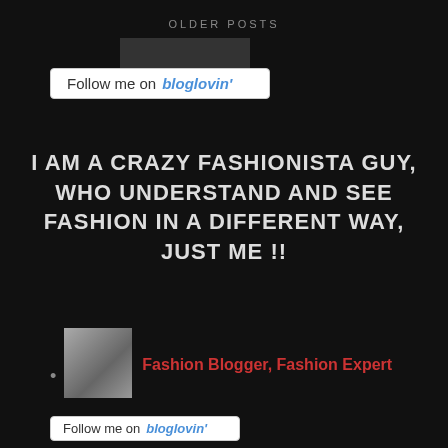OLDER POSTS
[Figure (other): Follow me on bloglovin' badge button (top)]
I AM A CRAZY FASHIONISTA GUY, WHO UNDERSTAND AND SEE FASHION IN A DIFFERENT WAY, JUST ME !!
Fashion Blogger, Fashion Expert
[Figure (other): Follow me on bloglovin' badge button (bottom, partially visible)]